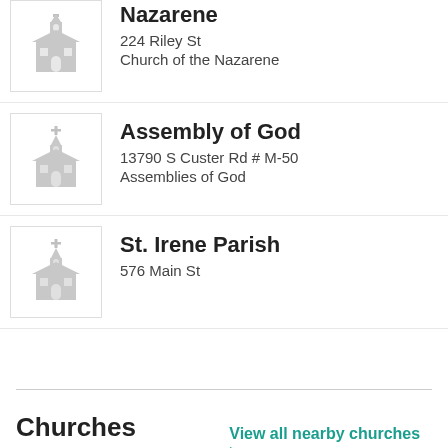Nazarene
224 Riley St
Church of the Nazarene
Assembly of God
13790 S Custer Rd # M-50
Assemblies of God
St. Irene Parish
576 Main St
Churches Nearby
View all nearby churches >